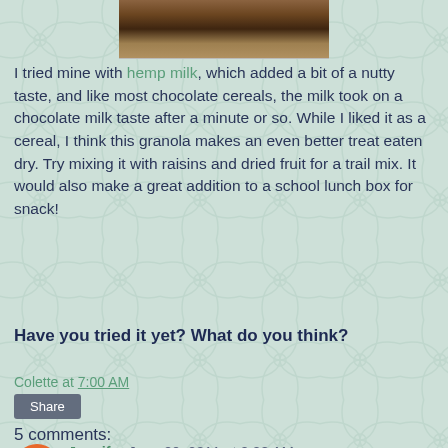[Figure (photo): Top portion of a food photo showing what appears to be granola or cereal in a bowl, cropped at the top of the page]
I tried mine with hemp milk, which added a bit of a nutty taste, and like most chocolate cereals, the milk took on a chocolate milk taste after a minute or so. While I liked it as a cereal, I think this granola makes an even better treat eaten dry. Try mixing it with raisins and dried fruit for a trail mix. It would also make a great addition to a school lunch box for snack!
Have you tried it yet? What do you think?
Colette at 7:00 AM
Share
5 comments:
Jennifer June 20, 2011 at 2:08 AM
We tried it and loved it as well! Lol, I should say Em tried it and loves to eat it :) She eats it directly, it was a great substitu...